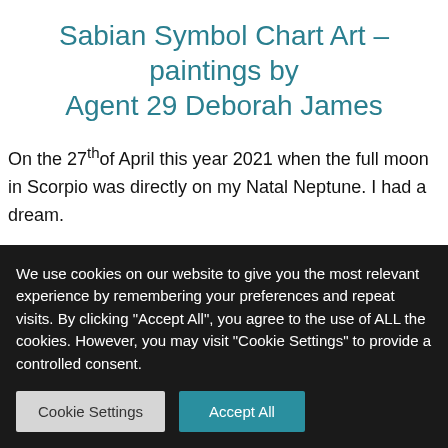Sabian Symbol Chart Art – paintings by Agent 29 Deborah James
On the 27th of April this year 2021 when the full moon in Scorpio was directly on my Natal Neptune. I had a dream.
The dream was about the Sabian symbols coming to life and interacting with each other. I saw them communicating with each
We use cookies on our website to give you the most relevant experience by remembering your preferences and repeat visits. By clicking "Accept All", you agree to the use of ALL the cookies. However, you may visit "Cookie Settings" to provide a controlled consent.